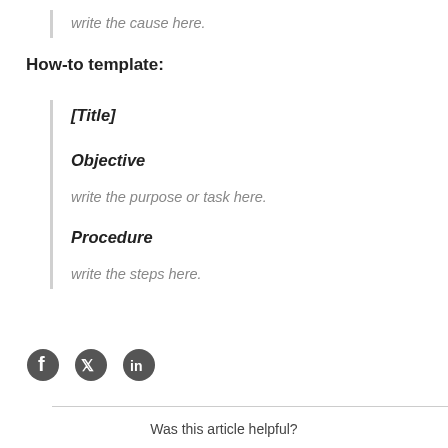write the cause here.
How-to template:
[Title]
Objective
write the purpose or task here.
Procedure
write the steps here.
[Figure (infographic): Social media sharing icons: Facebook, Twitter, LinkedIn]
Was this article helpful?